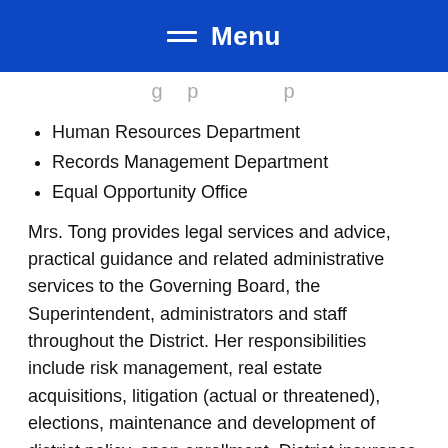Menu
g p p
Human Resources Department
Records Management Department
Equal Opportunity Office
Mrs. Tong provides legal services and advice, practical guidance and related administrative services to the Governing Board, the Superintendent, administrators and staff throughout the District. Her responsibilities include risk management, real estate acquisitions, litigation (actual or threatened), elections, maintenance and development of district policy, open enrollment, District insurance programs, contract review and preparation, and matters. Mrs. Tong also provides guidance and assistance in various and other